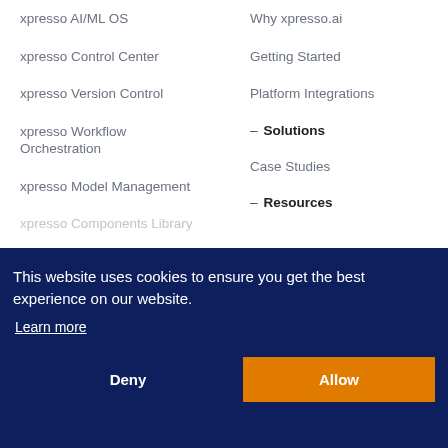xpresso AI/ML OS
xpresso Control Center
xpresso Version Control
xpresso Workflow Orchestration
xpresso Model Management
xpresso Components Library
Why xpresso.ai
Getting Started
Platform Integrations
Solutions
Case Studies
Resources
This website uses cookies to ensure you get the best experience on our website.
Learn more
Deny
Allow